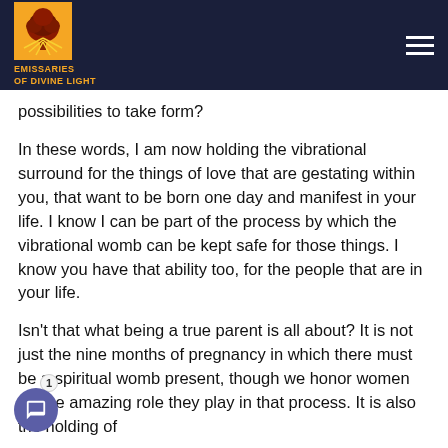Emissaries of Divine Light
possibilities to take form?
In these words, I am now holding the vibrational surround for the things of love that are gestating within you, that want to be born one day and manifest in your life. I know I can be part of the process by which the vibrational womb can be kept safe for those things. I know you have that ability too, for the people that are in your life.
Isn't that what being a true parent is all about? It is not just the nine months of pregnancy in which there must be a spiritual womb present, though we honor women for the amazing role they play in that process. It is also the holding of